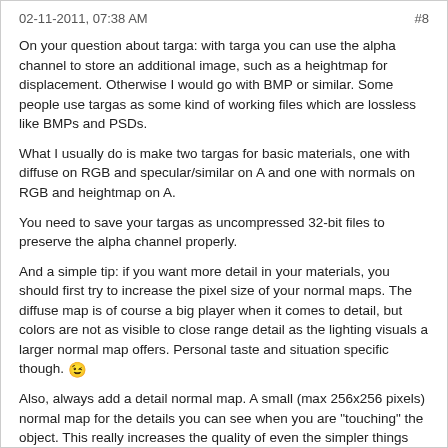02-11-2011, 07:38 AM   #8
On your question about targa: with targa you can use the alpha channel to store an additional image, such as a heightmap for displacement. Otherwise I would go with BMP or similar. Some people use targas as some kind of working files which are lossless like BMPs and PSDs.
What I usually do is make two targas for basic materials, one with diffuse on RGB and specular/similar on A and one with normals on RGB and heightmap on A.
You need to save your targas as uncompressed 32-bit files to preserve the alpha channel properly.
And a simple tip: if you want more detail in your materials, you should first try to increase the pixel size of your normal maps. The diffuse map is of course a big player when it comes to detail, but colors are not as visible to close range detail as the lighting visuals a larger normal map offers. Personal taste and situation specific though. 😉
Also, always add a detail normal map. A small (max 256x256 pixels) normal map for the details you can see when you are "touching" the object. This really increases the quality of even the simpler things like concrete and paper. 🙂
Sorry, this became a bit lengthy and I don't even know if this is familiar to you already. Oh well... 🙂